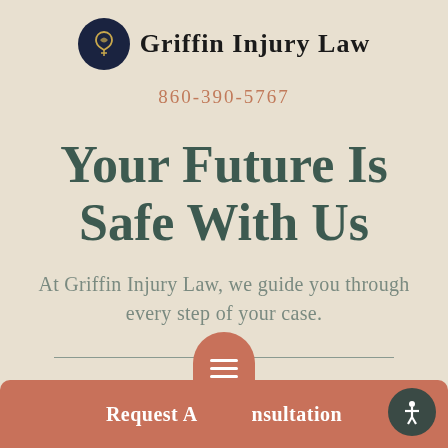Griffin Injury Law
860-390-5767
Your Future Is Safe With Us
At Griffin Injury Law, we guide you through every step of your case.
[Figure (other): Horizontal divider line with a circular dot in the center]
Request A Consultation